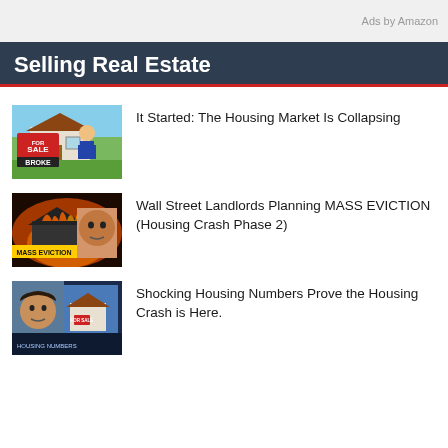Ads by Amazon
Selling Real Estate
[Figure (screenshot): Thumbnail: man holding a 'For Sale BROKE' sign in front of a house]
It Started: The Housing Market Is Collapsing
[Figure (screenshot): Thumbnail: house on fire with 'MASS EVICTION' text overlay and man's face]
Wall Street Landlords Planning MASS EVICTION (Housing Crash Phase 2)
[Figure (screenshot): Thumbnail: news-style screenshot with man and house with 'For Sale' sign]
Shocking Housing Numbers Prove the Housing Crash is Here.